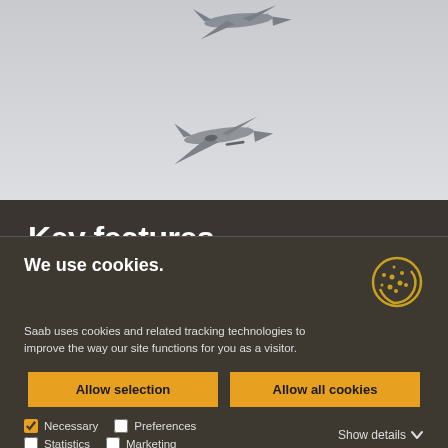[Figure (photo): Two military fighter jets (Saab Gripen) flying in formation against a pale grey sky background]
Key features
We use cookies.

Saab uses cookies and related tracking technologies to improve the way our site functions for you as a visitor.
Allow selection   Allow all cookies
Necessary   Preferences   Show details   Statistics   Marketing